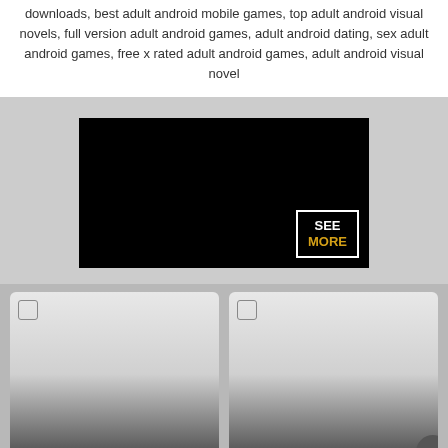downloads, best adult android mobile games, top adult android visual novels, full version adult android games, adult android dating, sex adult android games, free x rated adult android games, adult android visual novel
[Figure (other): Black banner image with a 'SEE MORE' label in the bottom-right corner inside a white bracket rectangle]
[Figure (other): Card for game 'Crossroads v0.2.2', dated 04/12/2019, with gradient background from light gray to dark]
[Figure (other): Card for game 'Dragon Girl X Universe v0.15', dated 05/04/2022, with gradient background from light gray to dark]